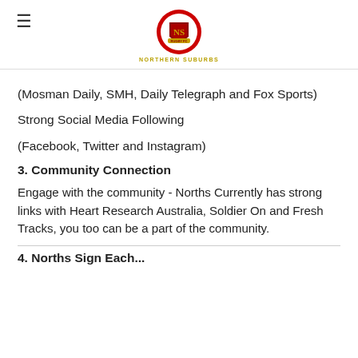Northern Suburbs Rugby FC
(Mosman Daily, SMH, Daily Telegraph and Fox Sports)
Strong Social Media Following
(Facebook, Twitter and Instagram)
3. Community Connection
Engage with the community - Norths Currently has strong links with Heart Research Australia, Soldier On and Fresh Tracks, you too can be a part of the community.
4. ...